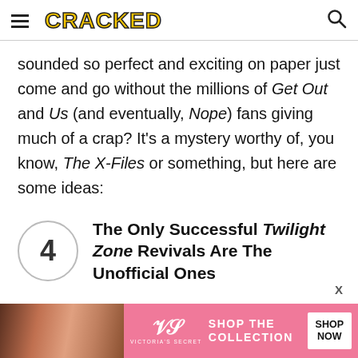CRACKED
sounded so perfect and exciting on paper just come and go without the millions of Get Out and Us (and eventually, Nope) fans giving much of a crap? It's a mystery worthy of, you know, The X-Files or something, but here are some ideas:
4 The Only Successful Twilight Zone Revivals Are The Unofficial Ones
[Figure (photo): Victoria's Secret advertisement banner with a woman's photo, VS logo, 'SHOP THE COLLECTION' text, and 'SHOP NOW' button on a pink background]